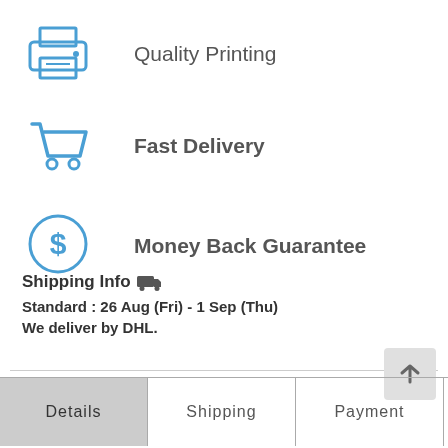[Figure (infographic): Blue printer icon]
Quality Printing
[Figure (infographic): Blue shopping cart icon]
Fast Delivery
[Figure (infographic): Blue dollar sign circle icon]
Money Back Guarantee
Shipping Info
Standard : 26 Aug (Fri) - 1 Sep (Thu)
We deliver by DHL.
[Figure (infographic): Scroll to top button with upward arrow]
Details	Shipping	Payment